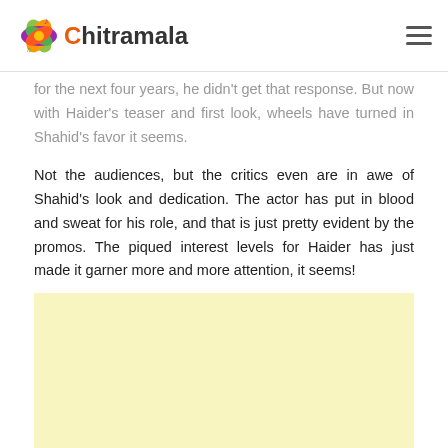Chitramala
for the next four years, he didn't get that response. But now with Haider's teaser and first look, wheels have turned in Shahid's favor it seems.
Not the audiences, but the critics even are in awe of Shahid's look and dedication. The actor has put in blood and sweat for his role, and that is just pretty evident by the promos. The piqued interest levels for Haider has just made it garner more and more attention, it seems!
[Figure (other): Advertisement placeholder box with light yellow background]